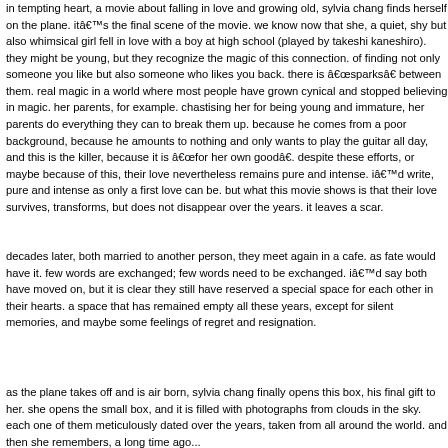in tempting heart, a movie about falling in love and growing old, sylvia chang finds herself on the plane. itâ€™s the final scene of the movie. we know now that she, a quiet, shy but also whimsical girl fell in love with a boy at high school (played by takeshi kaneshiro). they might be young, but they recognize the magic of this connection. of finding not only someone you like but also someone who likes you back. there is â€œsparksâ€ between them. real magic in a world where most people have grown cynical and stopped believing in magic. her parents, for example. chastising her for being young and immature, her parents do everything they can to break them up. because he comes from a poor background, because he amounts to nothing and only wants to play the guitar all day, and this is the killer, because it is â€œfor her own goodâ€. despite these efforts, or maybe because of this, their love nevertheless remains pure and intense. iâ€™d write, pure and intense as only a first love can be. but what this movie shows is that their love survives, transforms, but does not disappear over the years. it leaves a scar.
decades later, both married to another person, they meet again in a cafe. as fate would have it. few words are exchanged; few words need to be exchanged. iâ€™d say both have moved on, but it is clear they still have reserved a special space for each other in their hearts. a space that has remained empty all these years, except for silent memories, and maybe some feelings of regret and resignation.
as the plane takes off and is air born, sylvia chang finally opens this box, his final gift to her. she opens the small box, and it is filled with photographs from clouds in the sky. each one of them meticulously dated over the years, taken from all around the world. and then she remembers, a long time ago...